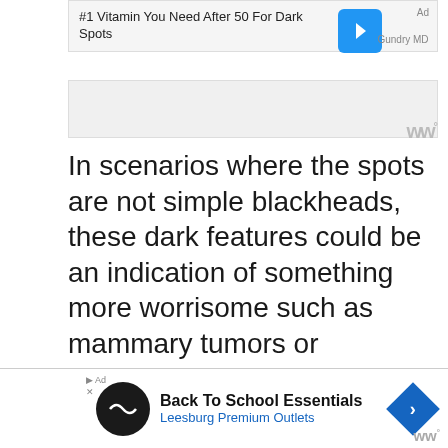[Figure (screenshot): Advertisement banner: '#1 Vitamin You Need After 50 For Dark Spots' with blue arrow icon and Gundry MD branding, labeled 'Ad']
In scenarios where the spots are not simple blackheads, these dark features could be an indication of something more worrisome such as mammary tumors or endocrine diseases. We'll dive into those additional possibilities in our article below!
[Figure (screenshot): Bottom advertisement banner: 'Back To School Essentials / Leesburg Premium Outlets' with circular logo icon and blue diamond arrow icon]